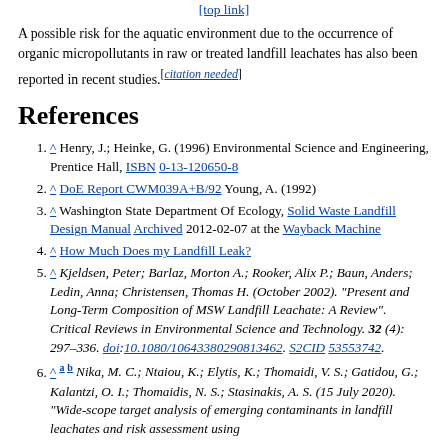A possible risk for the aquatic environment due to the occurrence of organic micropollutants in raw or treated landfill leachates has also been reported in recent studies.[citation needed]
References
^ Henry, J.; Heinke, G. (1996) Environmental Science and Engineering, Prentice Hall, ISBN 0-13-120650-8
^ DoE Report CWM039A+B/92 Young, A. (1992)
^ Washington State Department Of Ecology, Solid Waste Landfill Design Manual Archived 2012-02-07 at the Wayback Machine
^ How Much Does my Landfill Leak?
^ Kjeldsen, Peter; Barlaz, Morton A.; Rooker, Alix P.; Baun, Anders; Ledin, Anna; Christensen, Thomas H. (October 2002). "Present and Long-Term Composition of MSW Landfill Leachate: A Review". Critical Reviews in Environmental Science and Technology. 32 (4): 297–336. doi:10.1080/10643380290813462. S2CID 53553742.
^ a b Nika, M. C.; Ntaiou, K.; Elytis, K.; Thomaidi, V. S.; Gatidou, G.; Kalantzi, O. I.; Thomaidis, N. S.; Stasinakis, A. S. (15 July 2020). "Wide-scope target analysis of emerging contaminants in landfill leachates and risk assessment using